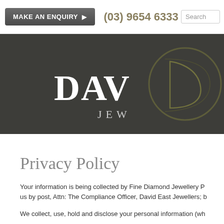MAKE AN ENQUIRY ▶   (03) 9654 6333   Search
[Figure (logo): David East Jewellers logo on dark olive/charcoal banner background. White text 'DAV' visible, 'JEW' below, with a stylized cursive D monogram in olive/gold tones on the right side.]
Privacy Policy
Your information is being collected by Fine Diamond Jewellery P... us by post, Attn: The Compliance Officer, David East Jewellers; b...
We collect, use, hold and disclose your personal information (wh...